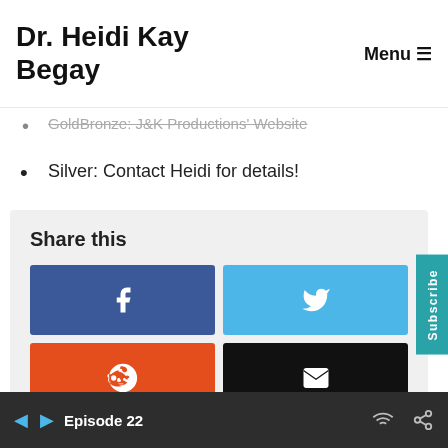Dr. Heidi Kay Begay  Menu
GoldBronze: J&K Productions' Website
Silver: Contact Heidi for details!
[Figure (infographic): Share this widget with Facebook (blue), Twitter (light blue), Reddit (orange-red), and Email (black) buttons]
[Figure (screenshot): Podcast player showing FLUTE 360 Episode 62: The Competition Process... with play button, time controls showing 30 back, 00:00:00, forward 30, and media icons]
Episode 22